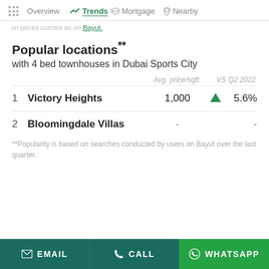Overview | Trends | Mortgage | Nearby
on prices current as on Bayut.
Popular locations** with 4 bed townhouses in Dubai Sports City
|  | Avg. price/sqft | VS Q2 2022 |
| --- | --- | --- |
| 1  Victory Heights | 1,000 | ▲ 5.6% |
| 2  Bloomingdale Villas | - | - |
**Popularity is based on searches conducted by users on Bayut over the last quarter.
EMAIL   CALL   WHATSAPP